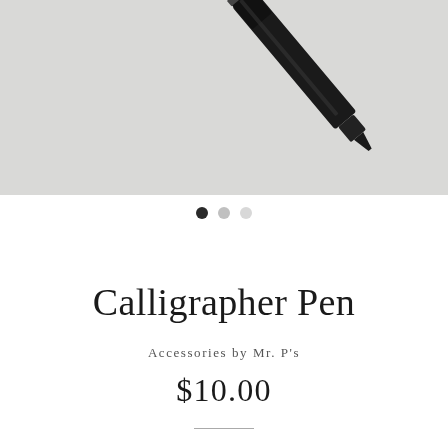[Figure (photo): Black and white close-up photo of a black calligrapher pen lying diagonally on a light grey/white surface, with the pen cap visible in the upper right area.]
Calligrapher Pen
Accessories by Mr. P's
$10.00